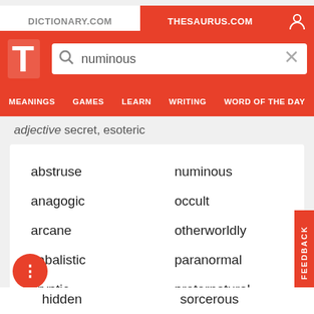DICTIONARY.COM | THESAURUS.COM
numinous
MEANINGS  GAMES  LEARN  WRITING  WORD OF THE DAY
adjective secret, esoteric
abstruse
numinous
anagogic
occult
arcane
otherworldly
cabalistic
paranormal
cryptic
preternatural
enigmatical
quixotic
hidden
sorcerous